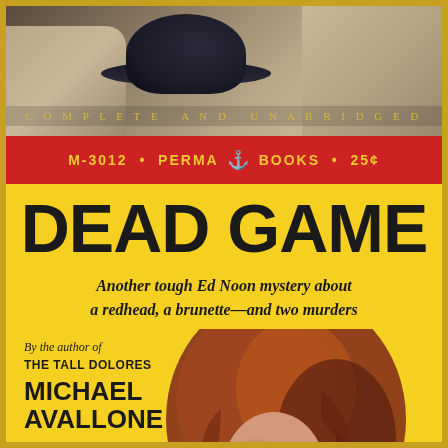[Figure (illustration): Top portion of paperback book cover showing a noir-style painted scene with a dark hat and fabric/clothing in background tones of tan, brown, and grey]
COMPLETE AND UNABRIDGED
M-3012 • PERMA BOOKS • 25¢
DEAD GAME
Another tough Ed Noon mystery about a redhead, a brunette—and two murders
By the author of
THE TALL DOLORES
MICHAEL AVALLONE
[Figure (illustration): Painted pulp illustration of a brunette woman with flowing red-brown hair, eyes closed, in a dramatic pose on the yellow cover background]